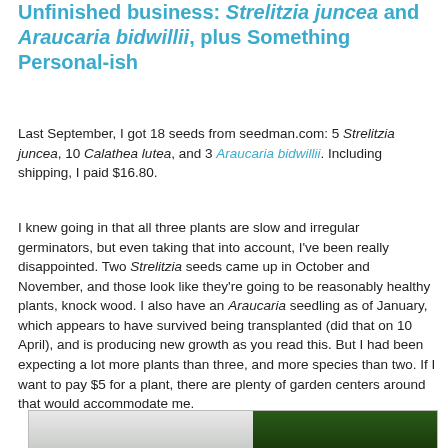Unfinished business: Strelitzia juncea and Araucaria bidwillii, plus Something Personal-ish
Last September, I got 18 seeds from seedman.com: 5 Strelitzia juncea, 10 Calathea lutea, and 3 Araucaria bidwillii. Including shipping, I paid $16.80.
I knew going in that all three plants are slow and irregular germinators, but even taking that into account, I've been really disappointed. Two Strelitzia seeds came up in October and November, and those look like they're going to be reasonably healthy plants, knock wood. I also have an Araucaria seedling as of January, which appears to have survived being transplanted (did that on 10 April), and is producing new growth as you read this. But I had been expecting a lot more plants than three, and more species than two. If I want to pay $5 for a plant, there are plenty of garden centers around that would accommodate me.
[Figure (photo): Partial photo of plants, showing light colored pots/trays on the left and dark green leafy plant on the right]